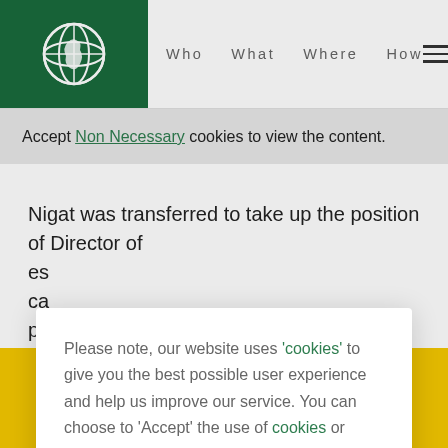Who  What  Where  How
Accept Non Necessary cookies to view the content.
Nigat was transferred to take up the position of Director of es ca pa As 8, He m
Please note, our website uses 'cookies' to give you the best possible user experience and help us improve our service. You can choose to 'Accept' the use of cookies or 'Manage' your preferences below.
ACCEPT  MANAGE
€ value  MONTHLY  SINGLE